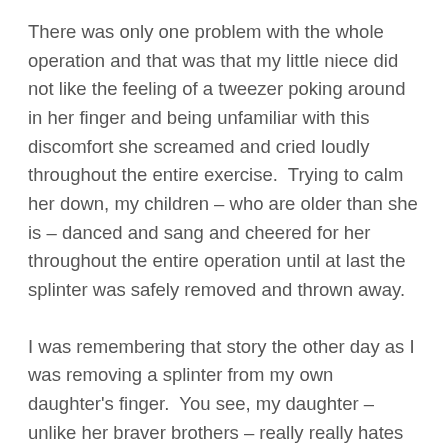There was only one problem with the whole operation and that was that my little niece did not like the feeling of a tweezer poking around in her finger and being unfamiliar with this discomfort she screamed and cried loudly throughout the entire exercise.  Trying to calm her down, my children – who are older than she is – danced and sang and cheered for her throughout the entire operation until at last the splinter was safely removed and thrown away.
I was remembering that story the other day as I was removing a splinter from my own daughter's finger.  You see, my daughter – unlike her braver brothers – really really hates to stand still while someone is trying to remove a splinter